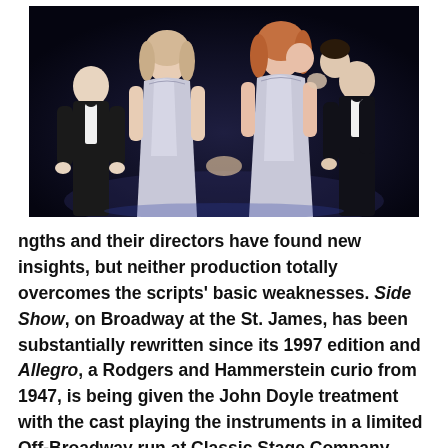[Figure (photo): Theater production photo showing four performers on a dark stage: two men in tuxedos on the outer sides and two women in silver/white gowns in the center, with one woman kissing one of the men on the cheek]
ngths and their directors have found new insights, but neither production totally overcomes the scripts' basic weaknesses. Side Show, on Broadway at the St. James, has been substantially rewritten since its 1997 edition and Allegro, a Rodgers and Hammerstein curio from 1947, is being given the John Doyle treatment with the cast playing the instruments in a limited Off-Broadway run at Classic Stage Company.
This current revival of Side Show is a big